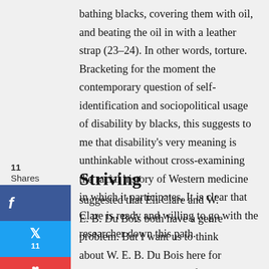bathing blacks, covering them with oil, and beating the oil in with a leather strap (23–24). In other words, torture. Bracketing for the moment the contemporary question of self-identification and sociopolitical usage of disability by blacks, this suggests to me that disability's very meaning is unthinkable without cross-examining the racial history of Western medicine in which it participates. It is clear that Clare is ready and willing to go with the researcher down this path.
Striving
suggested that Eli Clare and W. E. B. Du Bois both have a genre problem. But I want us to think about W. E. B. Du Bois here for other reasons. For those of us wondering with Chris Bell and Audre Lorde about the relationship of black thought and studies to disability studies, or "the whiteness of disability studies," I wonder